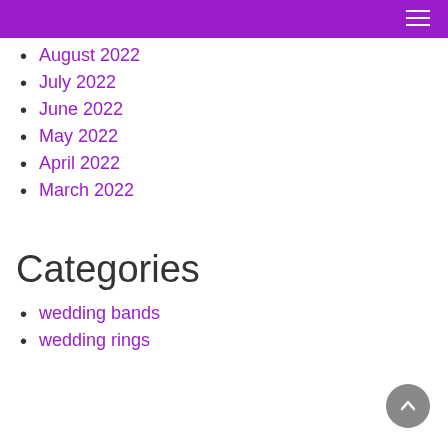August 2022
July 2022
June 2022
May 2022
April 2022
March 2022
Categories
wedding bands
wedding rings